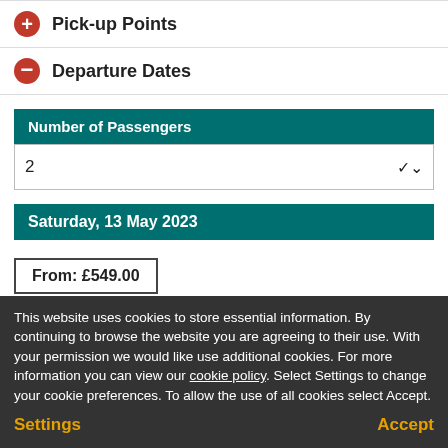Pick-up Points
Departure Dates
Number of Passengers
2
Saturday, 13 May 2023
From: £549.00
This website uses cookies to store essential information. By continuing to browse the website you are agreeing to their use. With your permission we would like use additional cookies. For more information you can view our cookie policy. Select Settings to change your cookie preferences. To allow the use of all cookies select Accept.
CallBack
Telephone
Add To Favourites
Settings
Accept